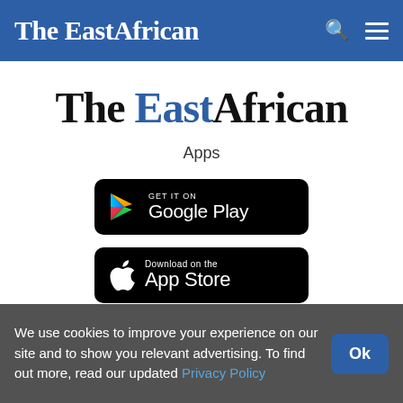The EastAfrican
[Figure (logo): The EastAfrican publication logo with 'East' in blue and rest in black, large serif font]
Apps
[Figure (screenshot): GET IT ON Google Play button - black rounded rectangle with Play Store triangle icon and text]
[Figure (screenshot): Download on the App Store button - black rounded rectangle with Apple logo and text]
We use cookies to improve your experience on our site and to show you relevant advertising. To find out more, read our updated Privacy Policy